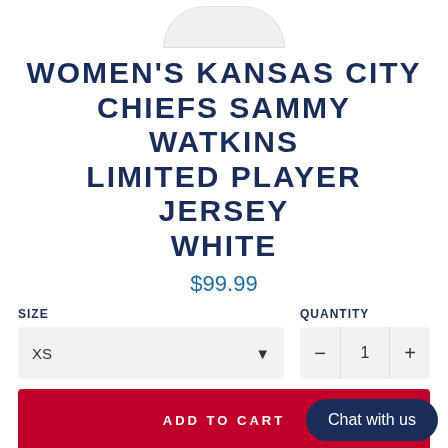[Figure (photo): Partial product image of a white jersey, showing only the top portion cropped at the image boundary.]
WOMEN'S KANSAS CITY CHIEFS SAMMY WATKINS LIMITED PLAYER JERSEY WHITE
$99.99
SIZE
QUANTITY
XS
1
ADD TO CART
Chat with us
Checkout securely with